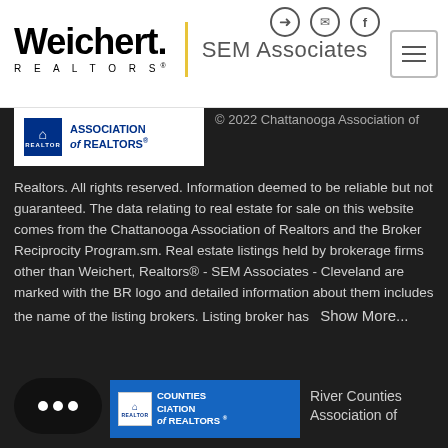[Figure (logo): Weichert Realtors SEM Associates logo with yellow divider bar and hamburger menu icon]
[Figure (logo): Chattanooga Association of Realtors logo badge]
© 2022 Chattanooga Association of Realtors. All rights reserved. Information deemed to be reliable but not guaranteed. The data relating to real estate for sale on this website comes from the Chattanooga Association of Realtors and the Broker Reciprocity Program.sm. Real estate listings held by brokerage firms other than Weichert, Realtors® - SEM Associates - Cleveland are marked with the BR logo and detailed information about them includes the name of the listing brokers. Listing broker has   Show More...
[Figure (logo): River Counties Association of Realtors logo badge (blue background)]
River Counties Association of